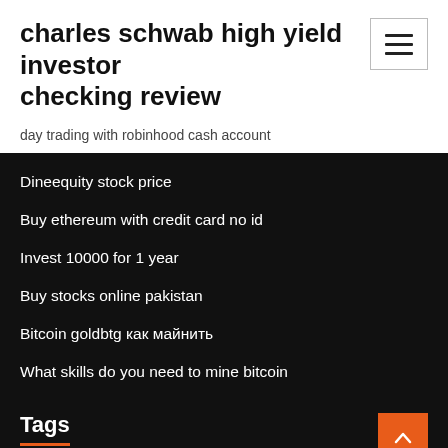charles schwab high yield investor checking review
day trading with robinhood cash account
Dineequity stock price
Buy ethereum with credit card no id
Invest 10000 for 1 year
Buy stocks online pakistan
Bitcoin goldbtg как майнить
What skills do you need to mine bitcoin
Tags